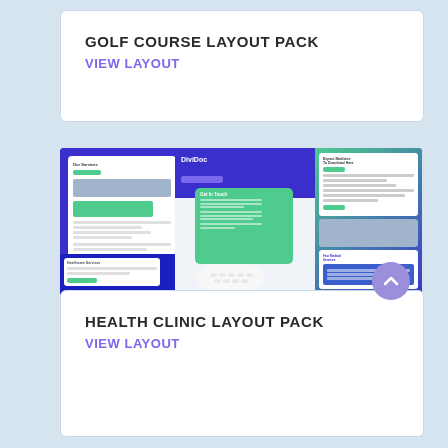GOLF COURSE LAYOUT PACK
VIEW LAYOUT
[Figure (screenshot): Health Clinic layout pack screenshot showing DiviDoc website mockup with blue and teal/green color scheme, multiple page layouts including a contact form, pill bowl image, and services page]
HEALTH CLINIC LAYOUT PACK
VIEW LAYOUT